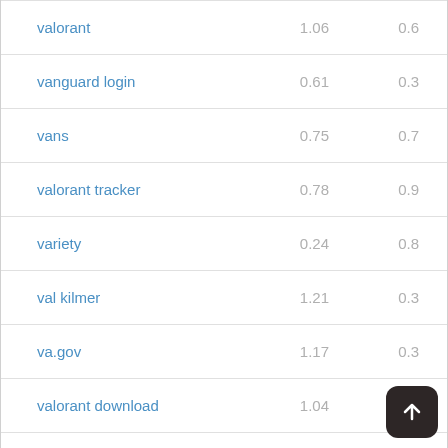| Keyword | Col1 | Col2 |
| --- | --- | --- |
| valorant | 1.06 | 0.6 |
| vanguard login | 0.61 | 0.3 |
| vans | 0.75 | 0.7 |
| valorant tracker | 0.78 | 0.9 |
| variety | 0.24 | 0.8 |
| val kilmer | 1.21 | 0.3 |
| va.gov | 1.17 | 0.3 |
| valorant download | 1.04 | 0.1 |
| variance tv | 0.79 |  |